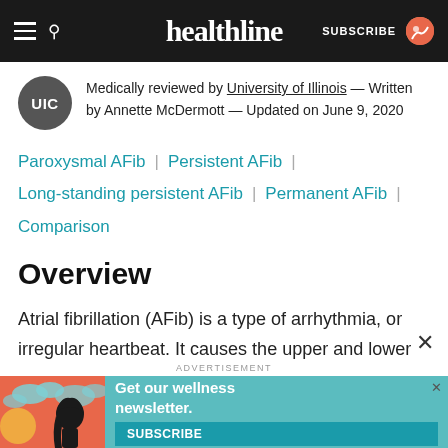healthline — SUBSCRIBE
Medically reviewed by University of Illinois — Written by Annette McDermott — Updated on June 9, 2020
Paroxysmal AFib
Persistent AFib
Long-standing persistent AFib
Permanent AFib
Comparison
Overview
Atrial fibrillation (AFib) is a type of arrhythmia, or irregular heartbeat. It causes the upper and lower chambers of your heart to beat out of sync, fast, and erratically.
[Figure (infographic): Advertisement banner: Get our wellness newsletter. Subscribe button. Illustrated woman with dark hair on orange/red background with teal sky.]